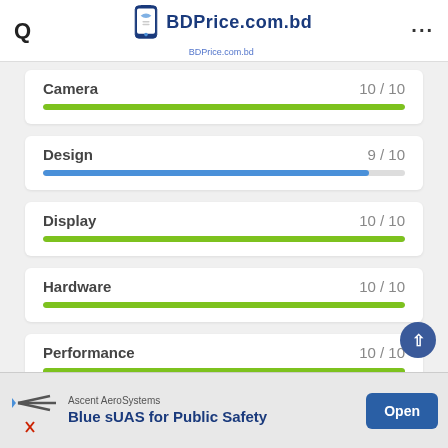BDPrice.com.bd
Camera 10 / 10
Design 9 / 10
Display 10 / 10
Hardware 10 / 10
Performance 10 / 10
Price 9 / 10
Ascent AeroSystems
Blue sUAS for Public Safety